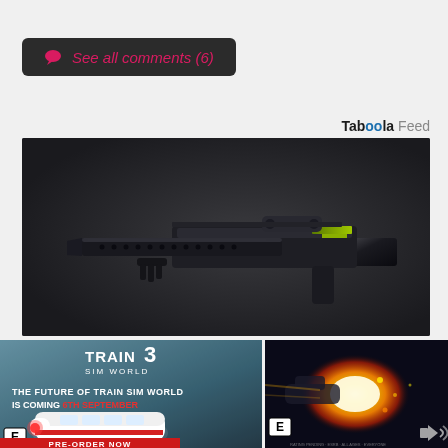See all comments (6)
Taboola Feed
[Figure (photo): A futuristic black sci-fi rifle weapon on a dark grey background, shown in profile view with yellow-green accents]
[Figure (photo): Train Sim World 3 advertisement: 'The Future of Train Sim World is Coming 6th September' with a white high-speed train, ESRB E rating, Pre-Order Now banner]
[Figure (photo): Video game advertisement showing a bright explosion or energy burst with a vehicle, ESRB E rating, speaker icon]